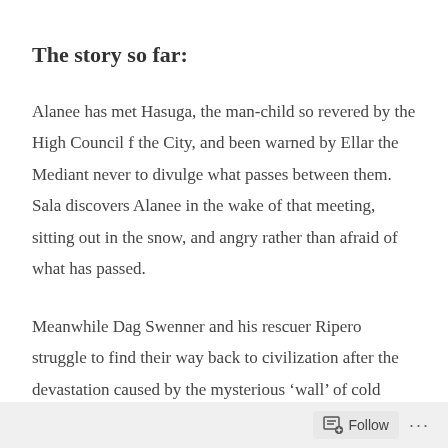The story so far:
Alanee has met Hasuga, the man-child so revered by the High Council f the City, and been warned by Ellar the Mediant never to divulge what passes between them.   Sala discovers Alanee in the wake of that meeting, sitting out in the snow, and angry rather than afraid of what has passed.
Meanwhile Dag Swenner and his rescuer Ripero struggle to find their way back to civilization after the devastation caused by the mysterious ‘wall’ of cold fire.  Out on the scorched earth of the plains they see a bunch of survivors
Follow ...